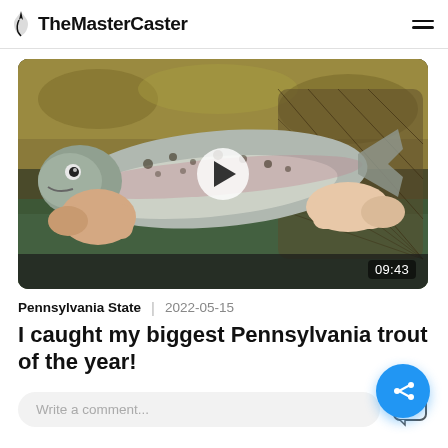TheMasterCaster
[Figure (photo): A person holding a large rainbow trout over water, with a fishing net visible. A play button overlay and duration timer showing 09:43 indicate this is a video thumbnail.]
Pennsylvania State  |  2022-05-15
I caught my biggest Pennsylvania trout of the year!
Write a comment...